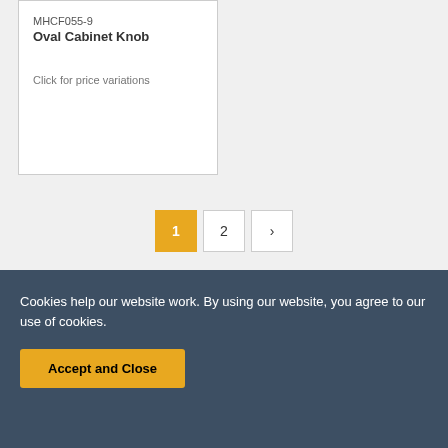MHCF055-9
Oval Cabinet Knob

Click for price variations
1 2 ›
Cookies help our website work. By using our website, you agree to our use of cookies.
Accept and Close